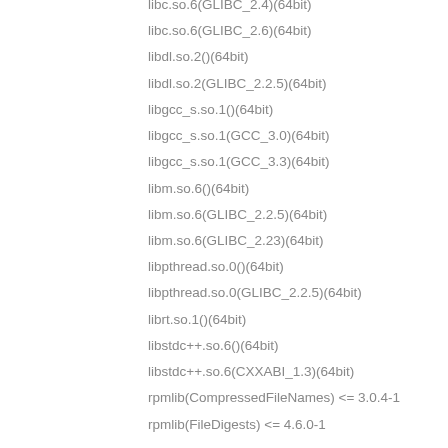libc.so.6(GLIBC_2.4)(64bit)
libc.so.6(GLIBC_2.6)(64bit)
libdl.so.2()(64bit)
libdl.so.2(GLIBC_2.2.5)(64bit)
libgcc_s.so.1()(64bit)
libgcc_s.so.1(GCC_3.0)(64bit)
libgcc_s.so.1(GCC_3.3)(64bit)
libm.so.6()(64bit)
libm.so.6(GLIBC_2.2.5)(64bit)
libm.so.6(GLIBC_2.23)(64bit)
libpthread.so.0()(64bit)
libpthread.so.0(GLIBC_2.2.5)(64bit)
librt.so.1()(64bit)
libstdc++.so.6()(64bit)
libstdc++.so.6(CXXABI_1.3)(64bit)
rpmlib(CompressedFileNames) <= 3.0.4-1
rpmlib(FileDigests) <= 4.6.0-1